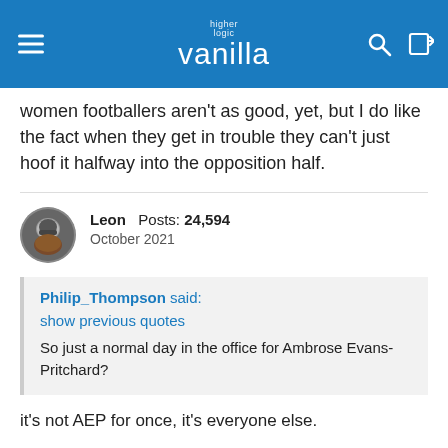higher logic vanilla
women footballers aren't as good, yet, but I do like the fact when they get in trouble they can't just hoof it halfway into the opposition half.
Leon  Posts: 24,594  October 2021
Philip_Thompson said:
show previous quotes
So just a normal day in the office for Ambrose Evans-Pritchard?
it's not AEP for once, it's everyone else.
Hard to say if they are definitely alarmed, or their